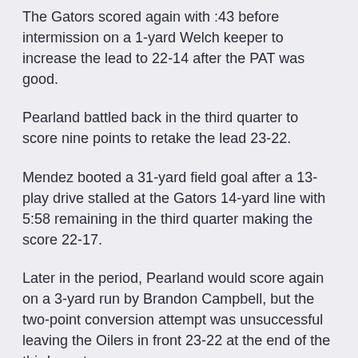The Gators scored again with :43 before intermission on a 1-yard Welch keeper to increase the lead to 22-14 after the PAT was good.
Pearland battled back in the third quarter to score nine points to retake the lead 23-22.
Mendez booted a 31-yard field goal after a 13-play drive stalled at the Gators 14-yard line with 5:58 remaining in the third quarter making the score 22-17.
Later in the period, Pearland would score again on a 3-yard run by Brandon Campbell, but the two-point conversion attempt was unsuccessful leaving the Oilers in front 23-22 at the end of the third quarter.
Both teams continued to battle on defense until Dickinson scored on a strange play. Deep in Pearland territory, Ausaru Allah broke free for a 7-yard touchdown, but before he